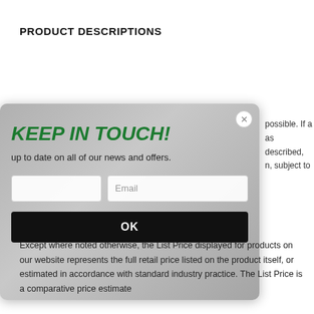PRODUCT DESCRIPTIONS
[Figure (screenshot): A modal popup overlay with 'KEEP IN TOUCH!' title in green italic bold text, subtitle 'up to date on all of our news and offers.', an email input field, and a black OK button. A close (x) button is in the top right corner. The background shows a faded crowd image.]
possible. If a as described, n, subject to
Except where noted otherwise, the List Price displayed for products on our website represents the full retail price listed on the product itself, or estimated in accordance with standard industry practice. The List Price is a comparative price estimate